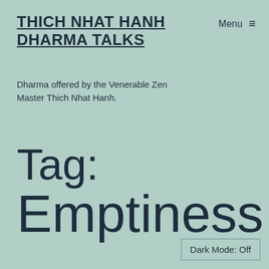THICH NHAT HANH DHARMA TALKS
Dharma offered by the Venerable Zen Master Thich Nhat Hanh.
Menu ☰
Tag: Emptiness
Dark Mode: Off